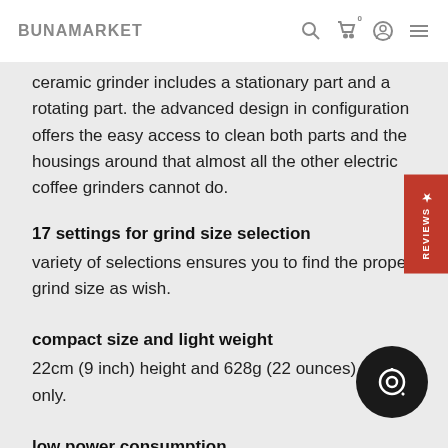BUNAMARKET
ceramic grinder includes a stationary part and a rotating part. the advanced design in configuration offers the easy access to clean both parts and the housings around that almost all the other electric coffee grinders cannot do.
17 settings for grind size selection
variety of selections ensures you to find the proper grind size as wish.
compact size and light weight
22cm (9 inch) height and 628g (22 ounces) weight only.
low power consumption
DC 12V power supply and less than 25 watt, power